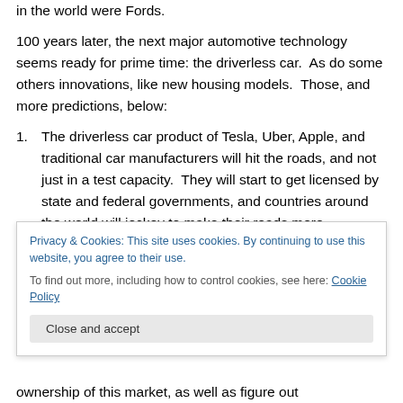in the world were Fords.
100 years later, the next major automotive technology seems ready for prime time: the driverless car.  As do some others innovations, like new housing models.  Those, and more predictions, below:
The driverless car product of Tesla, Uber, Apple, and traditional car manufacturers will hit the roads, and not just in a test capacity.  They will start to get licensed by state and federal governments, and countries around the world will jockey to make their roads more
Privacy & Cookies: This site uses cookies. By continuing to use this website, you agree to their use.
To find out more, including how to control cookies, see here: Cookie Policy
ownership of this market, as well as figure out